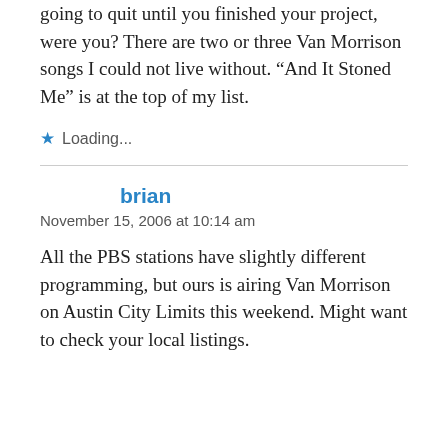going to quit until you finished your project, were you? There are two or three Van Morrison songs I could not live without. “And It Stoned Me” is at the top of my list.
Loading...
brian
November 15, 2006 at 10:14 am
All the PBS stations have slightly different programming, but ours is airing Van Morrison on Austin City Limits this weekend. Might want to check your local listings.